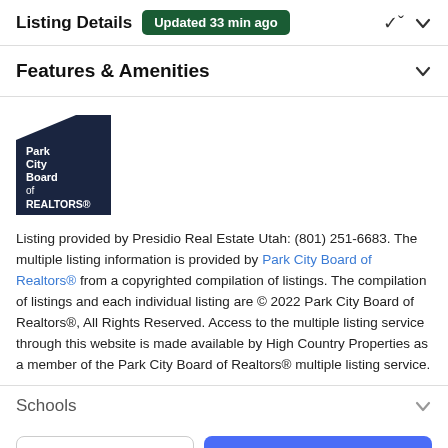Listing Details  Updated 33 min ago
Features & Amenities
[Figure (logo): Park City Board of REALTORS logo — dark navy blue angular shape with white text]
Listing provided by Presidio Real Estate Utah: (801) 251-6683. The multiple listing information is provided by Park City Board of Realtors® from a copyrighted compilation of listings. The compilation of listings and each individual listing are © 2022 Park City Board of Realtors®, All Rights Reserved. Access to the multiple listing service through this website is made available by High Country Properties as a member of the Park City Board of Realtors® multiple listing service.
Schools
Take a Tour
Ask A Question
Payment Calculator